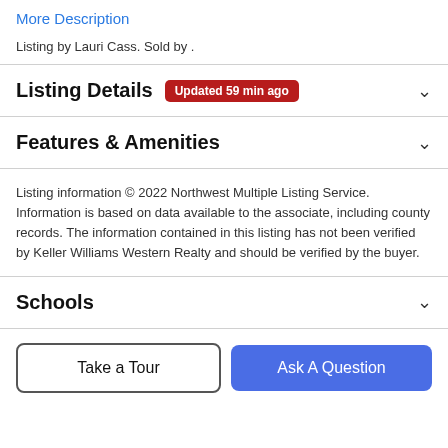More Description
Listing by Lauri Cass. Sold by .
Listing Details  Updated 59 min ago
Features & Amenities
Listing information © 2022 Northwest Multiple Listing Service. Information is based on data available to the associate, including county records. The information contained in this listing has not been verified by Keller Williams Western Realty and should be verified by the buyer.
Schools
Take a Tour
Ask A Question